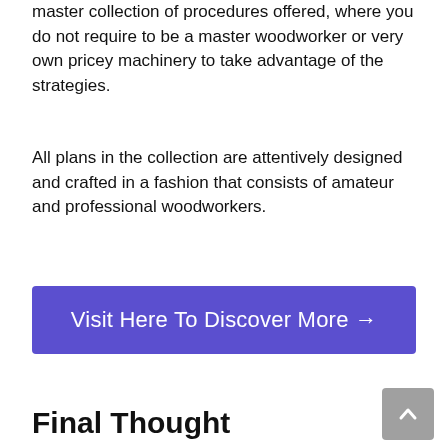master collection of procedures offered, where you do not require to be a master woodworker or very own pricey machinery to take advantage of the strategies.
All plans in the collection are attentively designed and crafted in a fashion that consists of amateur and professional woodworkers.
[Figure (other): Purple button with white text reading 'Visit Here To Discover More →']
Final Thought